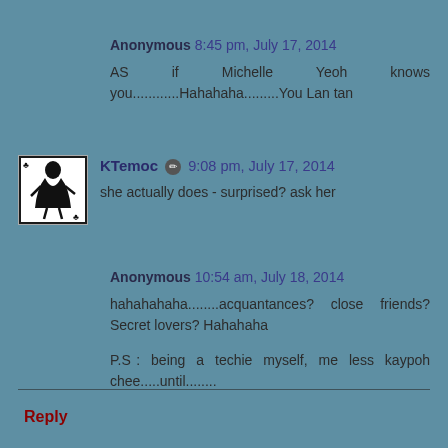Anonymous 8:45 pm, July 17, 2014
AS if Michelle Yeoh knows you............Hahahaha.........You Lan tan
[Figure (illustration): Avatar image of a stylized figure in black ink on white background, depicting a person in a dress with playing card suit symbols]
KTemoc ✏ 9:08 pm, July 17, 2014
she actually does - surprised? ask her
Anonymous 10:54 am, July 18, 2014
hahahahaha........acquantances? close friends? Secret lovers? Hahahaha

P.S : being a techie myself, me less kaypoh chee.....until........
Reply